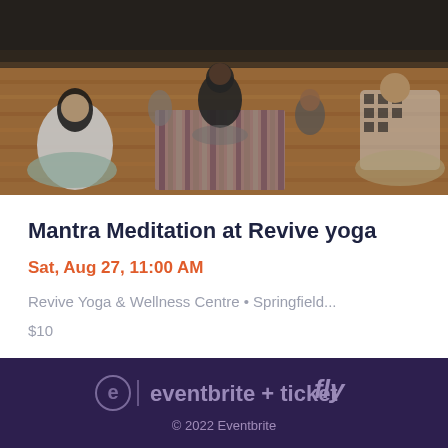[Figure (photo): People sitting on yoga mats and blankets on a wooden floor in a yoga studio, viewed from the front or side, some with backs to camera. Warm wooden floor with striped rug in center. Studio setting with mirrors and equipment in background.]
Mantra Meditation at Revive yoga
Sat, Aug 27, 11:00 AM
Revive Yoga & Wellness Centre • Springfield...
$10
eventbrite + ticketfly © 2022 Eventbrite